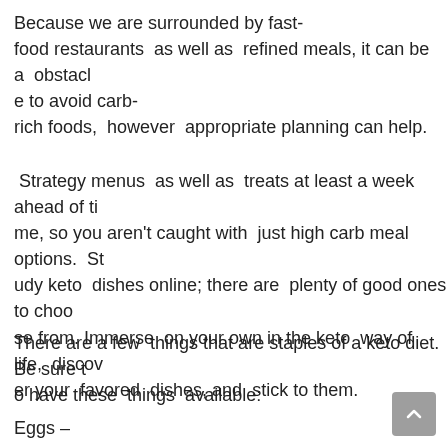Because we are surrounded by fast-food restaurants as well as refined meals, it can be a obstacle to avoid carb-rich foods, however appropriate planning can help.
Strategy menus as well as treats at least a week ahead of time, so you aren't caught with just high carb meal options. Study keto dishes online; there are plenty of good ones to choose from. Immerse on your own in the keto way of life, discover your favored dishes, and stick to them.
There are a few things that are staples of a keto diet. Be sure to have these things available:
Eggs –